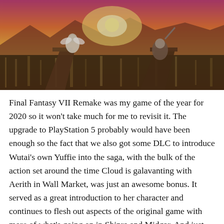[Figure (photo): Screenshot from Final Fantasy VII Remake showing two characters standing on a beam high above a glowing city at sunset with dramatic orange and pink sky.]
Final Fantasy VII Remake was my game of the year for 2020 so it won't take much for me to revisit it. The upgrade to PlayStation 5 probably would have been enough so the fact that we also got some DLC to introduce Wutai's own Yuffie into the saga, with the bulk of the action set around the time Cloud is galavanting with Aerith in Wall Market, was just an awesome bonus. It served as a great introduction to her character and continues to flesh out aspects of the original game with more of what's going on in Shinra and Midgar. And just like the base game, it features another end credits